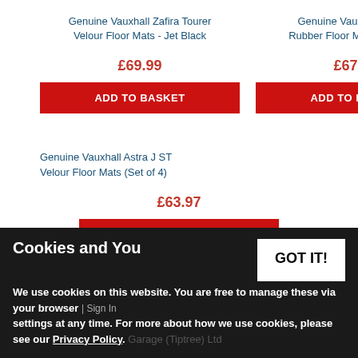Genuine Vauxhall Zafira Tourer Velour Floor Mats - Jet Black
Genuine Vauxhall Astra J Rubber Floor Mats (Set Of 4)
£69.99
ADD TO BASKET
£67.55
ADD TO BASKET
Genuine Vauxhall Astra J ST Velour Floor Mats (Set of 4)
£63.97
ADD TO BASKET
Cookies and You
GOT IT!
We use cookies on this website. You are free to manage these via your browser settings at any time. For more about how we use cookies, please see our Privacy Policy.
| Sign In
Garage (Tiptree) Ltd